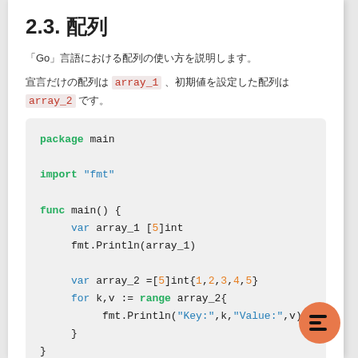2.3. 配列
「Go」言語における配列の使い方を説明します。
宣言だけの配列は array_1 、初期値を設定した配列は array_2 です。
package main

import "fmt"

func main() {
    var array_1 [5]int
    fmt.Println(array_1)

    var array_2 =[5]int{1,2,3,4,5}
    for k,v := range array_2{
        fmt.Println("Key:",k,"Value:",v)
    }
}